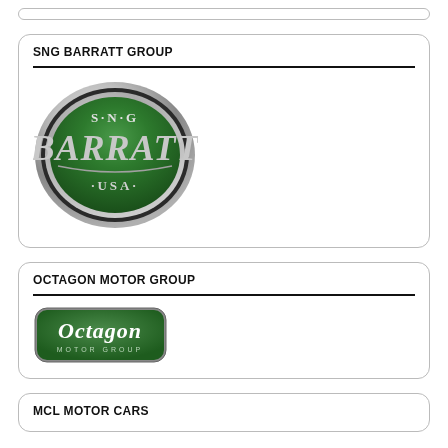[Figure (logo): Partial top card border visible at top of page]
SNG BARRATT GROUP
[Figure (logo): SNG Barratt USA logo — green oval with chrome border, text S·N·G BARRATT ·USA·]
OCTAGON MOTOR GROUP
[Figure (logo): Octagon Motor Group logo — green rounded rectangle with white italic text 'Octagon' and 'MOTOR GROUP' below]
MCL MOTOR CARS